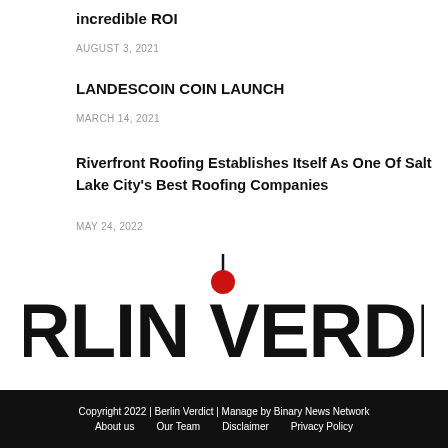incredible ROI
AUGUST 3, 2021
LANDESCOIN COIN LAUNCH
MARCH 14, 2021
Riverfront Roofing Establishes Itself As One Of Salt Lake City's Best Roofing Companies
MAY 24, 2022
[Figure (logo): Berlin Verdict logo with red circle and antenna on top of the letter I, bold black text BERLIN VERDICT]
Email: contact@binarynewsnetwork.com
Copyright 2022 | Berlin Verdict | Manage by Binary News Network  About us  Our Team  Disclaimer  Privacy Policy